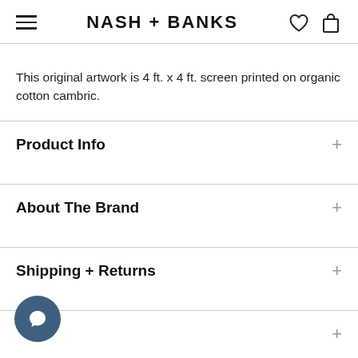NASH + BANKS
This original artwork is 4 ft. x 4 ft. screen printed on organic cotton cambric.
Product Info
About The Brand
Shipping + Returns
[Figure (illustration): Chat button icon — dark blue circular button with speech bubble icon]